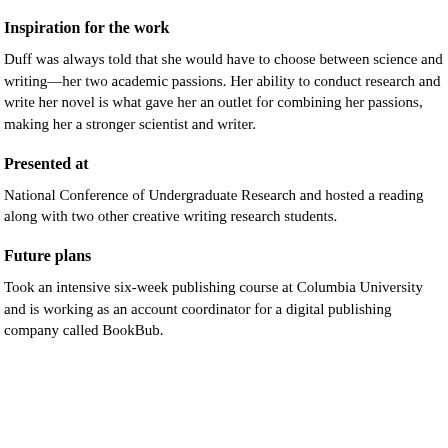Inspiration for the work
Duff was always told that she would have to choose between science and writing—her two academic passions. Her ability to conduct research and write her novel is what gave her an outlet for combining her passions, making her a stronger scientist and writer.
Presented at
National Conference of Undergraduate Research and hosted a reading along with two other creative writing research students.
Future plans
Took an intensive six-week publishing course at Columbia University and is working as an account coordinator for a digital publishing company called BookBub.